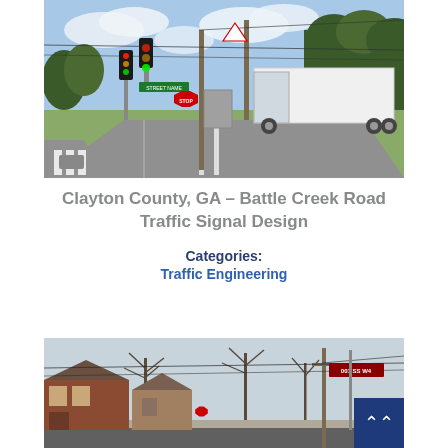[Figure (photo): Street-level photograph of a road intersection in Clayton County, GA, showing traffic signals, utility poles, overhead wires, road signs, a large white truck, green trees in background, and road markings with crosswalks.]
Clayton County, GA – Battle Creek Road Traffic Signal Design
Categories:
Traffic Engineering
[Figure (photo): Street-level photograph showing a suburban intersection with bare winter trees, brick residential buildings, utility poles and wires, road signs, and a dark blue scroll-to-top button overlay in the bottom right corner.]